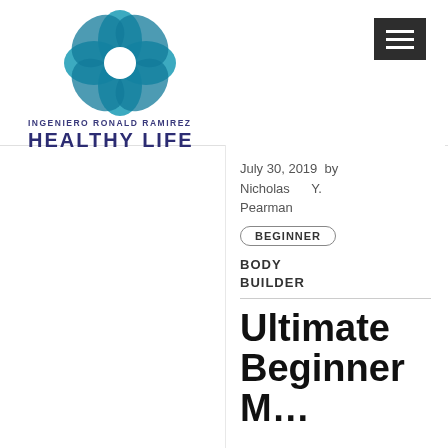[Figure (logo): Teal flower-petal logo SVG for Ingeniero Ronald Ramirez Healthy Life website]
INGENIERO RONALD RAMIREZ
HEALTHY LIFE
[Figure (other): Dark grey hamburger menu button with three horizontal white lines]
July 30, 2019 by Nicholas Y. Pearman
BEGINNER
BODY BUILDER
Ultimate Beginner M…